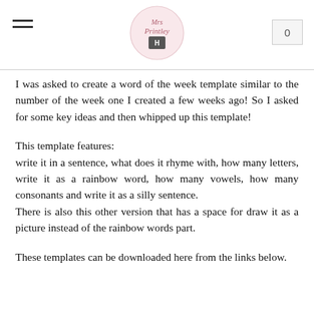Mrs Printley — navigation header with logo and cart
I was asked to create a word of the week template similar to the number of the week one I created a few weeks ago! So I asked for some key ideas and then whipped up this template!
This template features:
write it in a sentence, what does it rhyme with, how many letters, write it as a rainbow word, how many vowels, how many consonants and write it as a silly sentence.
There is also this other version that has a space for draw it as a picture instead of the rainbow words part.
These templates can be downloaded here from the links below.